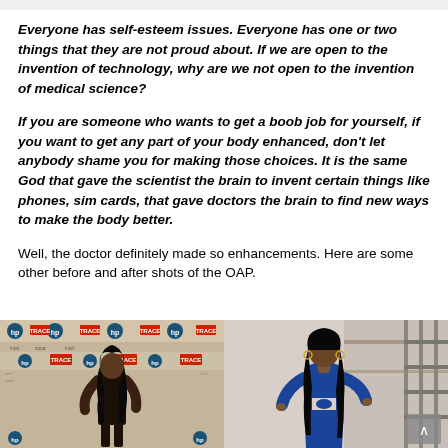Everyone has self-esteem issues. Everyone has one or two things that they are not proud about. If we are open to the invention of technology, why are we not open to the invention of medical science?
If you are someone who wants to get a boob job for yourself, if you want to get any part of your body enhanced, don't let anybody shame you for making those choices. It is the same God that gave the scientist the brain to invent certain things like phones, sim cards, that gave doctors the brain to find new ways to make the body better.
Well, the doctor definitely made so enhancements. Here are some other before and after shots of the OAP.
[Figure (photo): Two side-by-side photos showing a before and after comparison of a person. Left photo shows the person at an event with HP and TRACE branded backdrop, wearing a black outfit. Right photo shows the person in a blue outfit against a neutral background.]